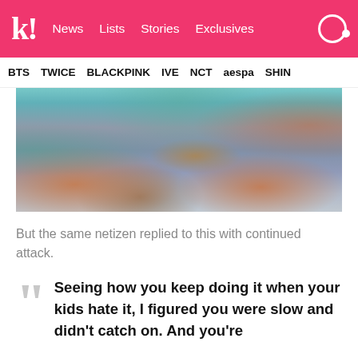k! News Lists Stories Exclusives
BTS TWICE BLACKPINK IVE NCT aespa SHIN
[Figure (photo): Close-up photo of people seated on the floor, showing their lower bodies and legs in jeans and casual clothing with colorful tops visible]
But the same netizen replied to this with continued attack.
Seeing how you keep doing it when your kids hate it, I figured you were slow and didn't catch on. And you're